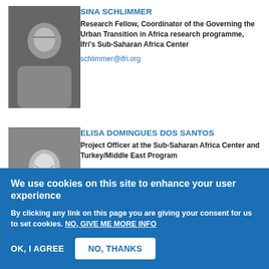[Figure (photo): Black and white portrait photo of Sina Schlimmer, a woman with glasses, arms crossed, wearing dark clothing.]
Sina SCHLIMMER
Research Fellow, Coordinator of the Governing the Urban Transition in Africa research programme, Ifri's Sub-Saharan Africa Center
schlimmer@ifri.org
[Figure (photo): Black and white portrait photo of Elisa Domingues Dos Santos, a woman with medium-length hair, wearing a white top.]
Elisa DOMINGUES DOS SANTOS
Project Officer at the Sub-Saharan Africa Center and Turkey/Middle East Program
...
dominguesdossantos@ifri.org
[Figure (photo): Partial view of a third person's photo, cropped by the cookie banner.]
We use cookies on this site to enhance your user experience
By clicking any link on this page you are giving your consent for us to set cookies. NO, GIVE ME MORE INFO
OK, I AGREE
NO, THANKS